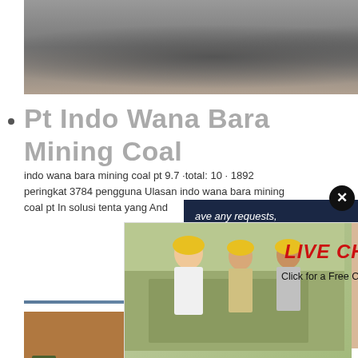[Figure (photo): Aerial/close-up view of coal or crushed rock aggregate, gray rocky material]
Pt Indo Wana Bara Mining Coal
indo wana bara mining coal pt 9.7 ·total: 10 · 1892 peringkat 3784 pengguna Ulasan indo wana bara mining coal pt In solusi tenta yang And
[Figure (screenshot): Live chat overlay popup with workers in hard hats and a customer service representative wearing headset. Contains 'LIVE CHAT' heading in red, 'Click for a Free Consultation' subtitle, Chat now (red) and Chat later (dark) buttons]
[Figure (infographic): Sidebar panel with dark navy background containing text 'ave any requests, click here.', Quotation button in orange, Enquiry link, and email limingjlmofen@sina.com]
[Figure (photo): Aerial view of open-pit coal mining site with excavators, trucks, and large mounds of coal/earth material]